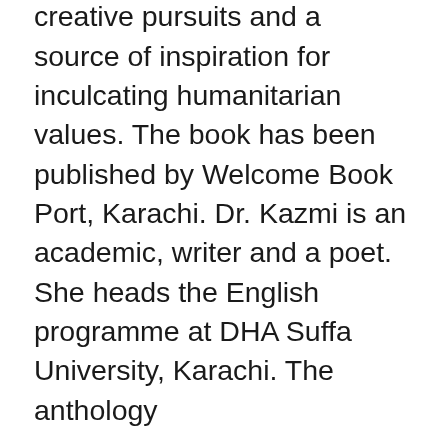The dedication of the book is also a poem employing ‘alchemy’ as a metaphor of creative pursuits and a source of inspiration for inculcating humanitarian values. The book has been published by Welcome Book Port, Karachi. Dr. Kazmi is an academic, writer and a poet. She heads the English programme at DHA Suffa University, Karachi. The anthology